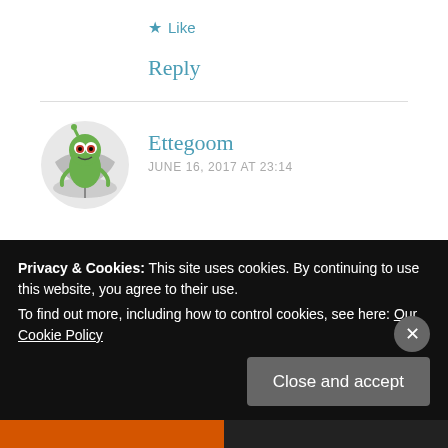★ Like
Reply
[Figure (illustration): Avatar image of a cartoon alien character (Gir from Invader Zim) holding an umbrella]
Ettegoom
JUNE 16, 2017 AT 23:14
Anathem by Neal Stephenson – completely awful. I didn't get past the first chapter. SF where he just gave weird new names to extant objects to make
Privacy & Cookies: This site uses cookies. By continuing to use this website, you agree to their use.
To find out more, including how to control cookies, see here: Our Cookie Policy
Close and accept